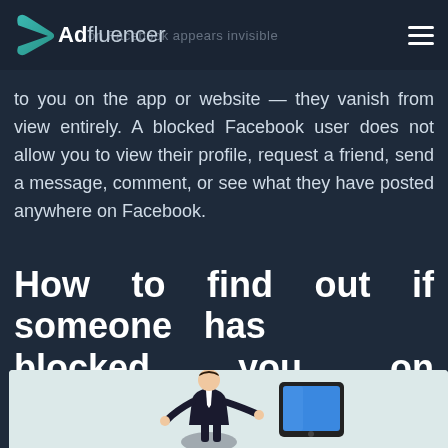Adfluencer
...on Facebook appears invisible to you on the app or website — they vanish from view entirely. A blocked Facebook user does not allow you to view their profile, request a friend, send a message, comment, or see what they have posted anywhere on Facebook.
How to find out if someone has blocked you on Facebook?
[Figure (illustration): Illustration of a person in a business suit gesturing next to a mobile device/tablet with a blue screen, on a light blue/grey background.]